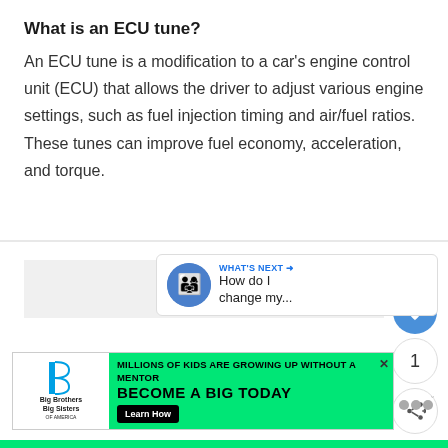What is an ECU tune?
An ECU tune is a modification to a car's engine control unit (ECU) that allows the driver to adjust various engine settings, such as fuel injection timing and air/fuel ratios. These tunes can improve fuel economy, acceleration, and torque.
[Figure (screenshot): Social media action buttons: heart/like button (blue circle), count showing '1', and share button]
[Figure (screenshot): What's Next card with Big Brothers Big Sisters icon and text 'How do I change my...']
[Figure (infographic): Advertisement banner for Big Brothers Big Sisters: 'MILLIONS OF KIDS ARE GROWING UP WITHOUT A MENTOR. BECOME A BIG TODAY' with Learn How button on green background]